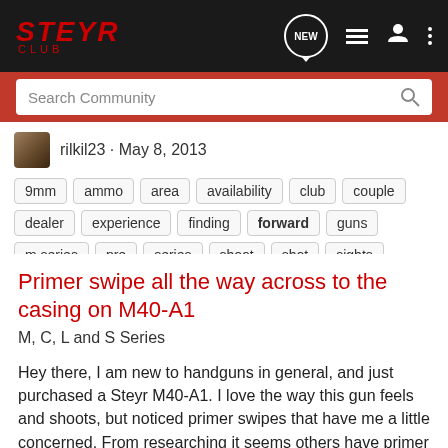STEYR CLUB
Search Community
rilkil23 · May 8, 2013
9mm  ammo  area  availability  club  couple  dealer  experience  finding  forward  guns  m series  pre  series  shoot  shot  sights  steyr  videos
Primer swipe all the way across to the casing on M40-A1
M, C, L and S Series
Hey there, I am new to handguns in general, and just purchased a Steyr M40-A1. I love the way this gun feels and shoots, but noticed primer swipes that have me a little concerned. From researching it seems others have primer swipe marks with this gun as well, but when the swipe